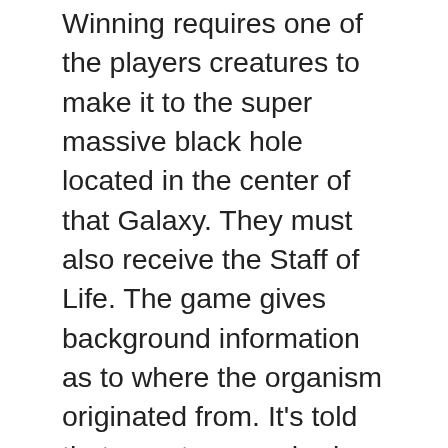Winning requires one of the players creatures to make it to the super massive black hole located in the center of that Galaxy. They must also receive the Staff of Life. The game gives background information as to where the organism originated from. It's told that a meteor crashed into the planet and inside of it was this single celled organism.The second stage in Spore is referred to as the Creature Stage. This is the point in the game that the player will transform their animal into a land creature. This stage also introduces the health and hunger bar of the animal.The third stage in Spore Torrent is the Tribal Stage, which means the players brain has completely developed. At this point this species is done changing physically. The player will also begin to control the tribe as a whole rather than the individual.By the fourth stage the players tribe has taken over as the strongest species in Spore. This is called the Civilization Stage and the main goal is to have the